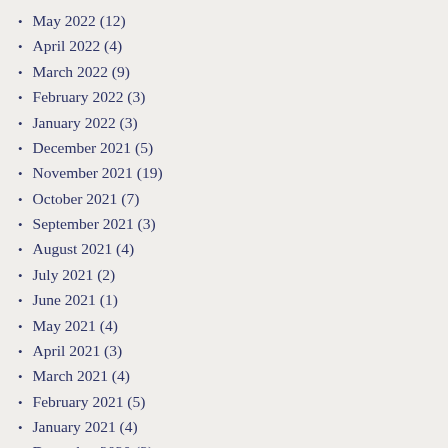May 2022 (12)
April 2022 (4)
March 2022 (9)
February 2022 (3)
January 2022 (3)
December 2021 (5)
November 2021 (19)
October 2021 (7)
September 2021 (3)
August 2021 (4)
July 2021 (2)
June 2021 (1)
May 2021 (4)
April 2021 (3)
March 2021 (4)
February 2021 (5)
January 2021 (4)
December 2020 (2)
November 2020 (6)
October 2020 (4)
September 2020 (1)